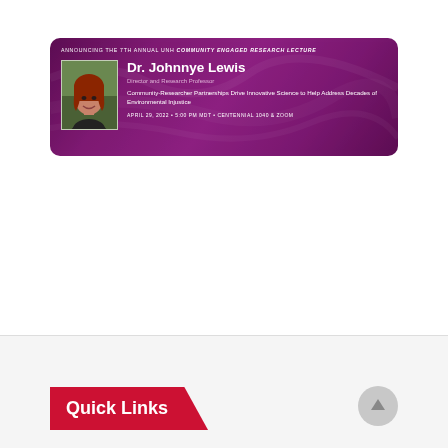[Figure (infographic): Purple banner announcing the 7th Annual UNH Community Engaged Research Lecture. Features a photo of Dr. Johnnye Lewis (woman with red hair), her name, title 'Director and Research Professor', lecture title 'Community-Researcher Partnerships Drive Innovative Science to Help Address Decades of Environmental Injustice', and event details 'APRIL 29, 2022 • 5:00 PM MDT • CENTENNIAL 1040 & ZOOM'.]
Quick Links